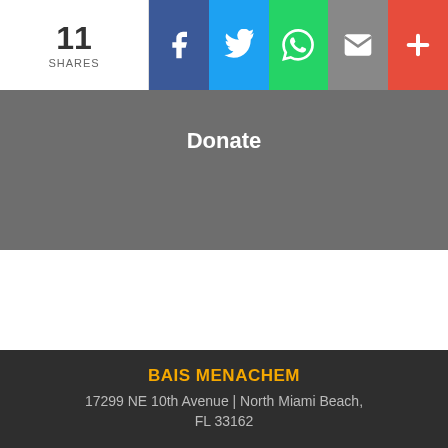11 SHARES
[Figure (infographic): Social share bar with Facebook, Twitter, WhatsApp, Email, and More (+) buttons]
Donate
BAIS MENACHEM
17299 NE 10th Avenue | North Miami Beach, FL 33162